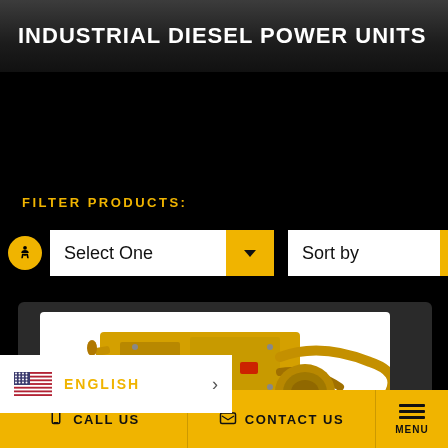INDUSTRIAL DIESEL POWER UNITS
FILTER PRODUCTS:
[Figure (screenshot): Two dropdown filter controls: 'Select One' and 'Sort by', with yellow arrow buttons, on a black background. An accessibility icon (person in circle) is on the left.]
[Figure (photo): A yellow Caterpillar industrial diesel power unit / engine on a white background, shown partially in a product card tile with dark rounded rectangle frame.]
[Figure (other): Language selector overlay showing US flag and 'ENGLISH' text in yellow with a right arrow, on white background.]
CALL US   CONTACT US   MENU